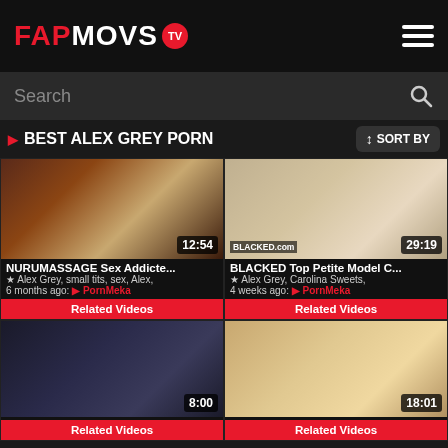FAPMOVS TV
Search
BEST ALEX GREY PORN
SORT BY
[Figure (screenshot): Video thumbnail 1 - duration 12:54]
[Figure (screenshot): Video thumbnail 2 - duration 29:19]
NURUMASSAGE Sex Addicte...
BLACKED Top Petite Model C...
★ Alex Grey, small tits, sex, Alex,
★ Alex Grey, Carolina Sweets,
6 months ago: ● PornMeka
4 weeks ago: ● PornMeka
Related Videos
Related Videos
[Figure (screenshot): Video thumbnail 3 - duration 8:00]
[Figure (screenshot): Video thumbnail 4 - duration 18:01]
Related Videos
Related Videos